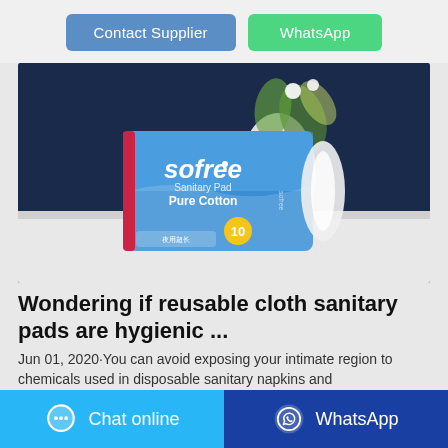[Figure (screenshot): Two buttons: 'Contact Supplier' (blue) and 'WhatsApp' (green)]
[Figure (photo): Product photo of Sofree Sanitary Pad Pure Cotton pack of 10, blue packaging, displayed on a white surface with a vase and plant in blurred background]
Wondering if reusable cloth sanitary pads are hygienic ...
Jun 01, 2020·You can avoid exposing your intimate region to chemicals used in disposable sanitary napkins and
[Figure (screenshot): Bottom bar with 'Chat online' button (light blue) and 'WhatsApp' button (dark blue)]